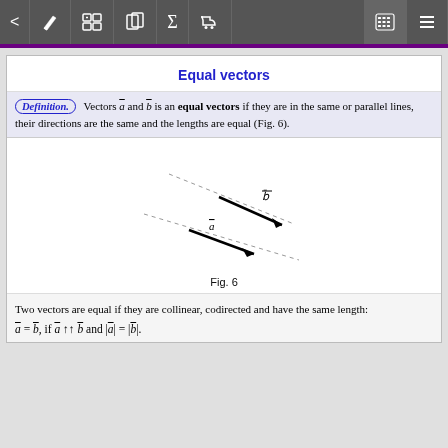< [edit] [grid] [book] Σ [cart]    [calc] [menu]
Equal vectors
Definition. Vectors a-bar and b-bar is an equal vectors if they are in the same or parallel lines, their directions are the same and the lengths are equal (Fig. 6).
[Figure (illustration): Two parallel arrows (vectors) of equal length pointing in the same direction (upper-right), with dotted parallel lines through them. Upper arrow labeled b-bar, lower arrow labeled a. Illustrates equal vectors.]
Fig. 6
Two vectors are equal if they are collinear, codirected and have the same length: